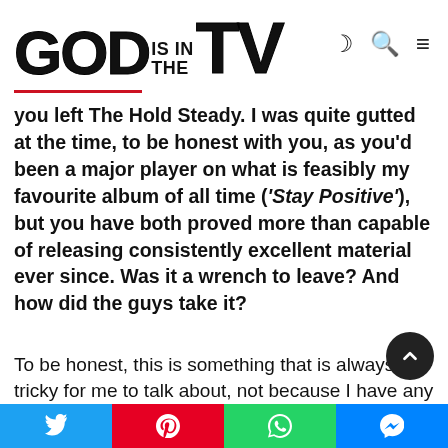GOD IS IN THE TV
you left The Hold Steady. I was quite gutted at the time, to be honest with you, as you'd been a major player on what is feasibly my favourite album of all time ('Stay Positive'), but you have both proved more than capable of releasing consistently excellent material ever since. Was it a wrench to leave? And how did the guys take it?
To be honest, this is something that is always tricky for me to talk about, not because I have any problem with it, but because people are always trying to read stuff into what i say that isn't there. It was a frustrating time in band for everyone, and I left, because life is short, and I